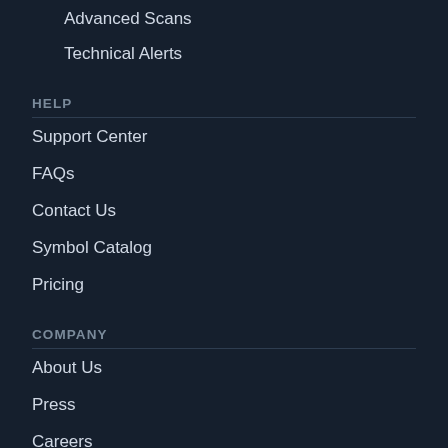Advanced Scans
Technical Alerts
HELP
Support Center
FAQs
Contact Us
Symbol Catalog
Pricing
COMPANY
About Us
Press
Careers
StockCharts Store
[Figure (logo): StockCharts logo with chart icon and text 'StockCharts']